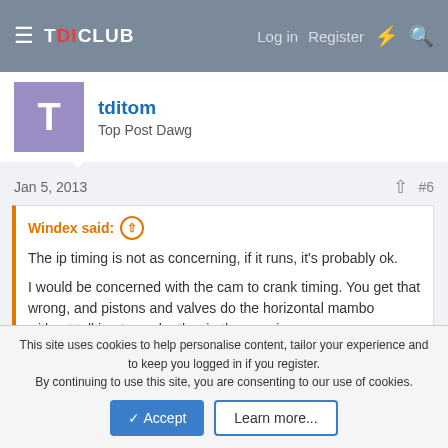TDICLUB — Log in  Register
tditom
Top Post Dawg
Jan 5, 2013  #6
Windex said: ↑

The ip timing is not as concerning, if it runs, it's probably ok.

I would be concerned with the cam to crank timing. You get that wrong, and pistons and valves do the horizontal mambo without talking to each other in the morning.
No worries on cam and crank relationship- lockdown tools were used 🙁
This site uses cookies to help personalise content, tailor your experience and to keep you logged in if you register.
By continuing to use this site, you are consenting to our use of cookies.
[Accept] [Learn more...]